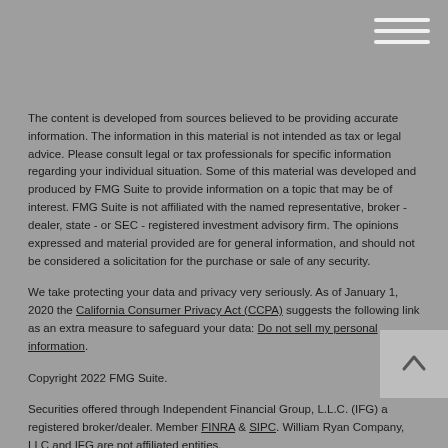[Figure (other): Hamburger menu icon with three horizontal lines in upper right corner]
The content is developed from sources believed to be providing accurate information. The information in this material is not intended as tax or legal advice. Please consult legal or tax professionals for specific information regarding your individual situation. Some of this material was developed and produced by FMG Suite to provide information on a topic that may be of interest. FMG Suite is not affiliated with the named representative, broker - dealer, state - or SEC - registered investment advisory firm. The opinions expressed and material provided are for general information, and should not be considered a solicitation for the purchase or sale of any security.
We take protecting your data and privacy very seriously. As of January 1, 2020 the California Consumer Privacy Act (CCPA) suggests the following link as an extra measure to safeguard your data: Do not sell my personal information.
Copyright 2022 FMG Suite.
Securities offered through Independent Financial Group, L.L.C. (IFG) a registered broker/dealer. Member FINRA & SIPC. William Ryan Company, LLC and IFG are not affiliated entities.
Office of supervisory jurisdiction: 12761 High Bluff Drive Suite 200 San Diego, CA 92130
Investments products and services available only to residents of : California (CA), Washington (WA)